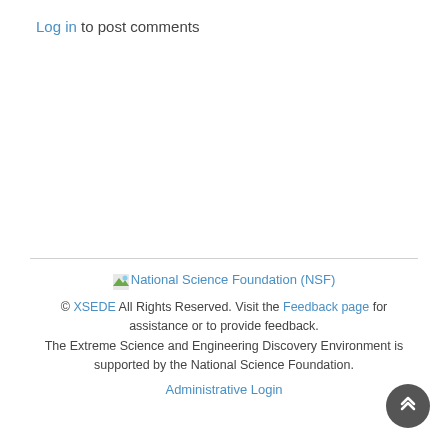Log in to post comments
[Figure (logo): National Science Foundation (NSF) logo image placeholder]
© XSEDE All Rights Reserved. Visit the Feedback page for assistance or to provide feedback. The Extreme Science and Engineering Discovery Environment is supported by the National Science Foundation. Administrative Login